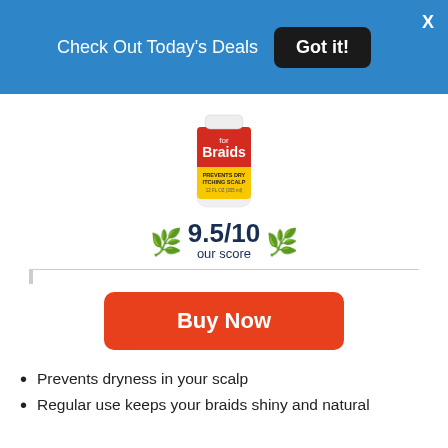Check Out Today's Deals  Got it!  X
[Figure (photo): A bottle of hair product for Braids. Yellow and red bottle label reading 'for Braids, prevents dry itching scalp, 12 fl oz (355ml)']
9.5/10 our score
Buy Now
Prevents dryness in your scalp
Regular use keeps your braids shiny and natural